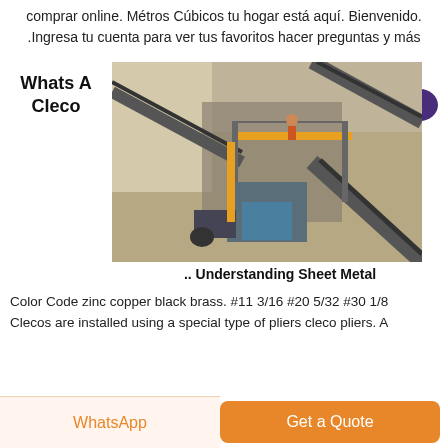comprar online. Métros Cúbicos tu hogar está aquí. Bienvenido. .Ingresa tu cuenta para ver tus favoritos hacer preguntas y más
[Figure (other): Live chat button with Arabic text حاضر and a teal speech bubble icon labeled LIVE CHAT]
Whats A Cleco
[Figure (photo): Industrial mining/quarry site with conveyor belts, machinery, and rocky terrain]
.. Understanding Sheet Metal
Color Code zinc copper black brass. #11 3/16 #20 5/32 #30 1/8 Clecos are installed using a special type of pliers cleco pliers. A
WhatsApp | Get a Quote